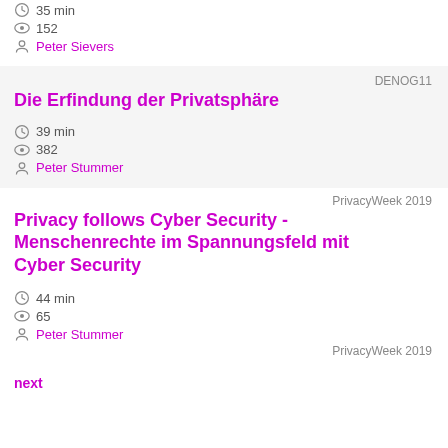35 min | 152 | Peter Sievers
DENOG11
Die Erfindung der Privatsphäre
39 min | 382 | Peter Stummer
PrivacyWeek 2019
Privacy follows Cyber Security - Menschenrechte im Spannungsfeld mit Cyber Security
44 min | 65 | Peter Stummer
PrivacyWeek 2019
next